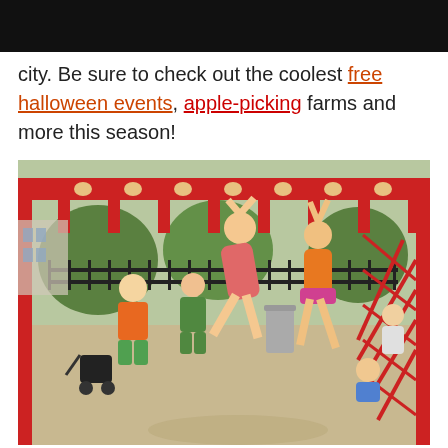city. Be sure to check out the coolest free halloween events, apple-picking farms and more this season!
[Figure (photo): Children playing on a red playground structure in an urban park. A girl in a pink dress swings on monkey bars while another child in orange holds a bar. Adults and other children are visible in the background near trees and a black fence.]